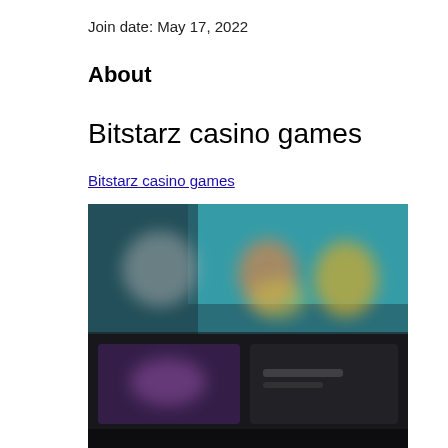Join date: May 17, 2022
About
Bitstarz casino games
Bitstarz casino games
[Figure (screenshot): Blurred screenshot of Bitstarz casino games interface showing colorful game thumbnails on a dark background with teal/blue and purple tones.]